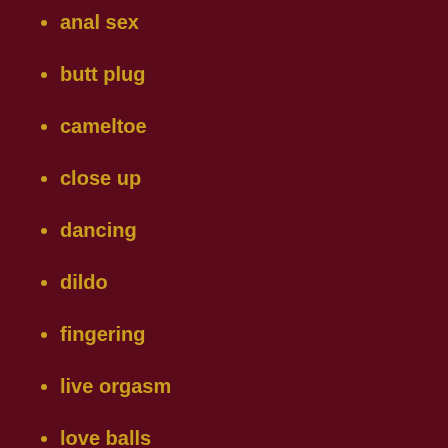anal sex
butt plug
cameltoe
close up
dancing
dildo
fingering
live orgasm
love balls